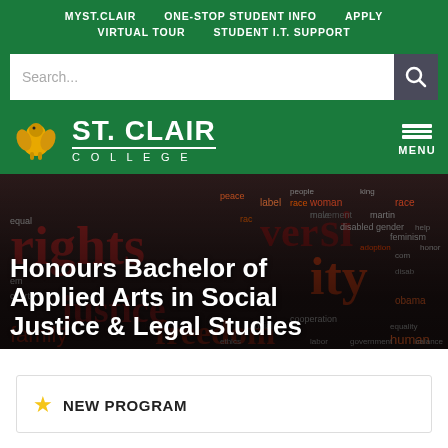MYST.CLAIR   ONE-STOP STUDENT INFO   APPLY   VIRTUAL TOUR   STUDENT I.T. SUPPORT
[Figure (screenshot): St. Clair College website navigation header with search bar, green background]
[Figure (logo): St. Clair College logo with golden griffin mascot on green background]
[Figure (illustration): Word cloud background image with social justice terms: rights, equality, diversity, freedom, race, etc. in dark red and orange tones]
Honours Bachelor of Applied Arts in Social Justice & Legal Studies
NEW PROGRAM